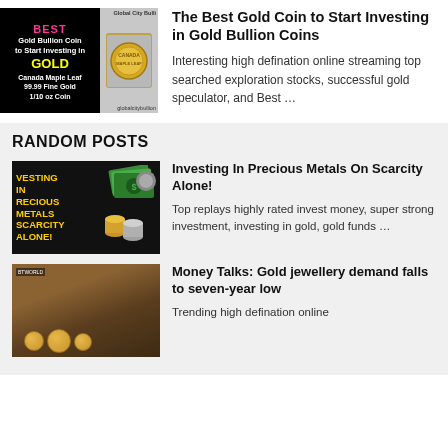[Figure (photo): Gold bullion coin promotional image with black background, text BEST, Gold Bullion Coin, GOLD, Canada Maple Leaf, 99.99 Fine Gold, 1/10 oz Coin, globalcitybullion watermark, and coin photo on right]
The Best Gold Coin to Start Investing in Gold Bullion Coins
Interesting high defination online streaming top searched exploration stocks, successful gold speculator, and Best …
RANDOM POSTS
[Figure (photo): Dark background image with yellow text: VESTING IN PRECIOUS METALS SCARCITY ALONE! with green dollar bills and gold coins illustration]
Investing In Precious Metals On Scarcity Alone!
Top replays highly rated invest money, super strong investment, investing in gold, gold funds …
[Figure (photo): Dark brown wooden surface with gold coins and BTWORLD watermark]
Money Talks: Gold jewellery demand falls to seven-year low
Trending high defination online